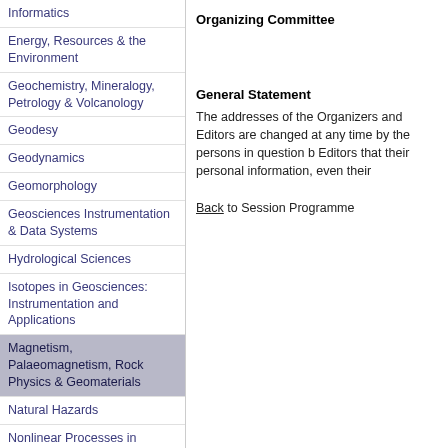Informatics
Energy, Resources & the Environment
Geochemistry, Mineralogy, Petrology & Volcanology
Geodesy
Geodynamics
Geomorphology
Geosciences Instrumentation & Data Systems
Hydrological Sciences
Isotopes in Geosciences: Instrumentation and Applications
Magnetism, Palaeomagnetism, Rock Physics & Geomaterials
Natural Hazards
Nonlinear Processes in Geophysics
Ocean Sciences
Planetary & Solar System Sciences
Organizing Committee
General Statement
The addresses of the Organizers and Editors are changed at any time by the persons in question b Editors that their personal information, even their
Back to Session Programme